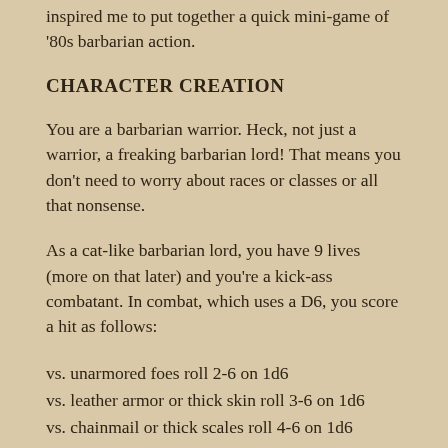inspired me to put together a quick mini-game of '80s barbarian action.
CHARACTER CREATION
You are a barbarian warrior. Heck, not just a warrior, a freaking barbarian lord! That means you don't need to worry about races or classes or all that nonsense.
As a cat-like barbarian lord, you have 9 lives (more on that later) and you're a kick-ass combatant. In combat, which uses a D6, you score a hit as follows:
vs. unarmored foes roll 2-6 on 1d6
vs. leather armor or thick skin roll 3-6 on 1d6
vs. chainmail or thick scales roll 4-6 on 1d6
vs. platemail roll 5-6 on 1d6